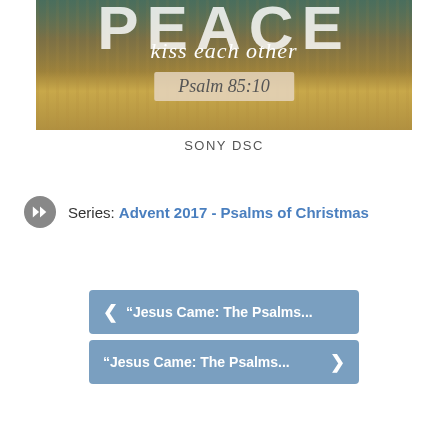[Figure (photo): Photo of a wheat field with text overlay reading 'PEACE kiss each other Psalm 85:10' — decorative scripture image with a vintage teal and amber toned field background]
SONY DSC
Series: Advent 2017 - Psalms of Christmas
"Jesus Came: The Psalms...
"Jesus Came: The Psalms...